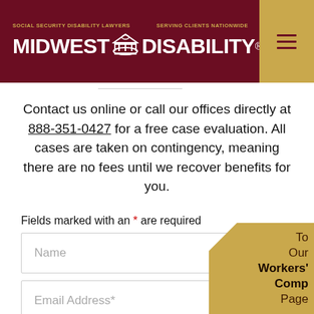SOCIAL SECURITY DISABILITY LAWYERS | MIDWEST DISABILITY | SERVING CLIENTS NATIONWIDE
Contact us online or call our offices directly at 888-351-0427 for a free case evaluation. All cases are taken on contingency, meaning there are no fees until we recover benefits for you.
Fields marked with an * are required
Name
Email Address*